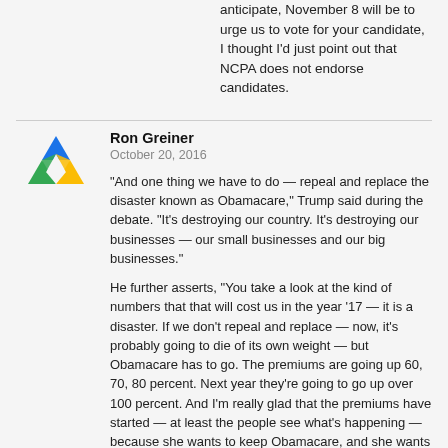anticipate, November 8 will be to urge us to vote for your candidate, I thought I'd just point out that NCPA does not endorse candidates.
[Figure (logo): Colorful triangular logo with blue, green, and orange segments]
Ron Greiner
October 20, 2016
"And one thing we have to do — repeal and replace the disaster known as Obamacare," Trump said during the debate. "It's destroying our country. It's destroying our businesses — our small businesses and our big businesses."
He further asserts, "You take a look at the kind of numbers that that will cost us in the year '17 — it is a disaster. If we don't repeal and replace — now, it's probably going to die of its own weight — but Obamacare has to go. The premiums are going up 60, 70, 80 percent. Next year they're going to go up over 100 percent. And I'm really glad that the premiums have started — at least the people see what's happening — because she wants to keep Obamacare, and she wants to make it even worse. And it can't get any worse. Bad health care at the most expensive price. We have to repeal and replace Obamacare."